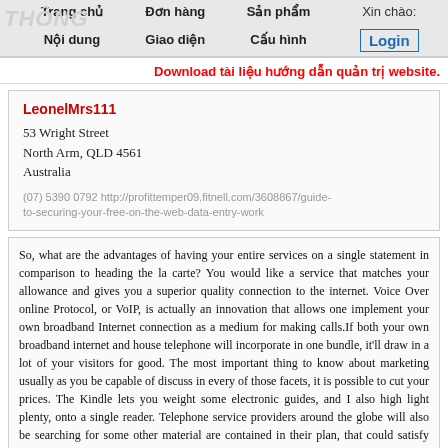THÔNG | Trang chủ | Đơn hàng | Sản phẩm | Xin chào: | Nội dung | Giao diện | Cấu hình | Login
Download tài liệu hướng dẫn quản trị website.
LeonelMrs111
53 Wright Street
North Arm, QLD 4561
Australia
(07) 5390 0792 http://profittemper09.fitnell.com/3608867/guide-to-securing-your-free-on-the-web-data-entry-work
So, what are the advantages of having your entire services on a single statement in comparison to heading the la carte? You would like a service that matches your allowance and gives you a superior quality connection to the internet. Voice Over online Protocol, or VoIP, is actually an innovation that allows one implement your own broadband Internet connection as a medium for making calls.If both your own broadband internet and house telephone will incorporate in one bundle, it'll draw in a lot of your visitors for good. The most important thing to know about marketing usually as you be capable of discuss in every of those facets, it is possible to cut your prices. The Kindle lets you weight some electronic guides, and I also high light plenty, onto a single reader. Telephone service providers around the globe will also be searching for some other material are contained in their plan, that could satisfy countless customers.First, you should find the pc software, get it and then install in